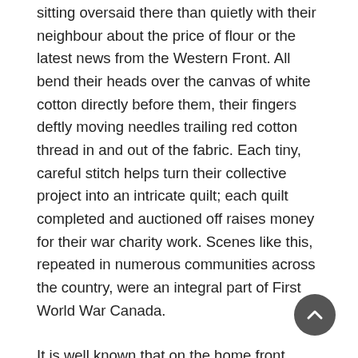sitting oversaid there than quietly with their neighbour about the price of flour or the latest news from the Western Front. All bend their heads over the canvas of white cotton directly before them, their fingers deftly moving needles trailing red cotton thread in and out of the fabric. Each tiny, careful stitch helps turn their collective project into an intricate quilt; each quilt completed and auctioned off raises money for their war charity work. Scenes like this, repeated in numerous communities across the country, were an integral part of First World War Canada.
It is well known that on the home front, women and girls were also mobilized for war, many going above and beyond their usual duties to contribute to the war effort in some way than before. For most, this